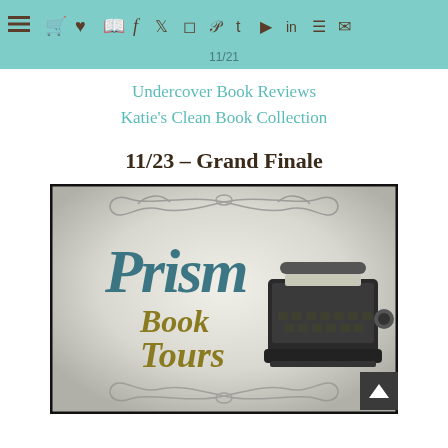Navigation bar with menu icon and social media icons
11/21
Undercover Book Reviews
Katie's Clean Book Collection
11/23 – Grand Finale
[Figure (logo): Prism Book Tours logo featuring ornate swirl decorations at top and bottom, with stylized script text 'Prism Book Tours' and a vintage typewriter illustration on the right side, on a gradient grey background with dark border]